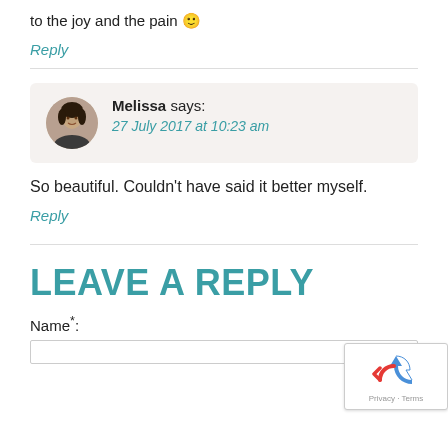to the joy and the pain 🙂
Reply
Melissa says:
27 July 2017 at 10:23 am
So beautiful. Couldn't have said it better myself.
Reply
LEAVE A REPLY
Name*: